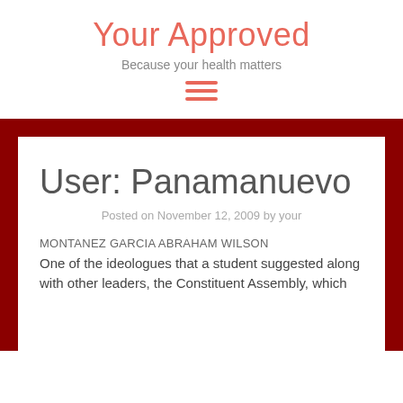Your Approved
Because your health matters
[Figure (other): Hamburger menu icon with three horizontal salmon/coral colored lines]
User: Panamanuevo
Posted on November 12, 2009 by your
MONTANEZ GARCIA ABRAHAM WILSON
One of the ideologues that a student suggested along with other leaders, the Constituent Assembly, which